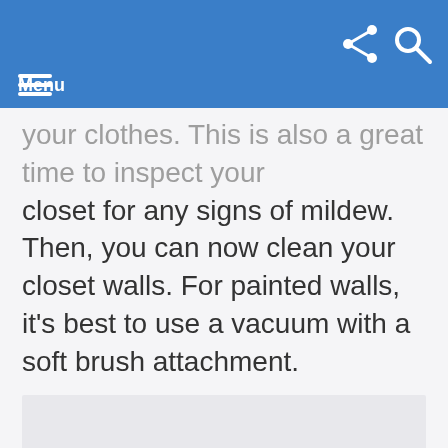Menu
your clothes. This is also a great time to inspect your closet for any signs of mildew. Then, you can now clean your closet walls. For painted walls, it's best to use a vacuum with a soft brush attachment.
[Figure (photo): Image placeholder area below the text content]